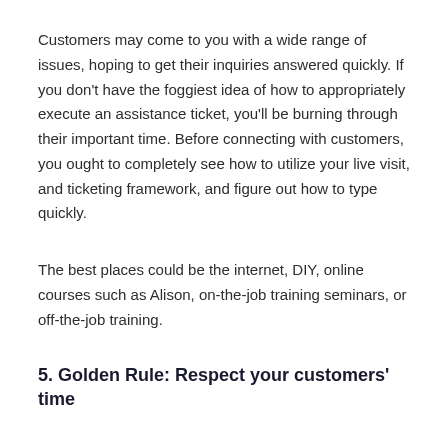Customers may come to you with a wide range of issues, hoping to get their inquiries answered quickly. If you don't have the foggiest idea of how to appropriately execute an assistance ticket, you'll be burning through their important time. Before connecting with customers, you ought to completely see how to utilize your live visit, and ticketing framework, and figure out how to type quickly.
The best places could be the internet, DIY, online courses such as Alison, on-the-job training seminars, or off-the-job training.
5. Golden Rule: Respect your customers' time
Do you realize to what extent your customers sit tight for an